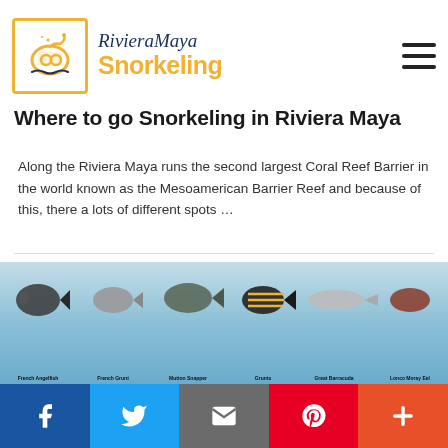[Figure (logo): Riviera Maya Snorkeling logo with snorkel mask icon in orange bordered box and stylized text]
Where to go Snorkeling in Riviera Maya
Along the Riviera Maya runs the second largest Coral Reef Barrier in the world known as the Mesoamerican Barrier Reef and because of this, there a lots of different spots …
[Figure (illustration): Grid illustration of reef fish species with names: French Angelfish, French Grunt, Mutton Snapper, Grunts, Great Barracuda, Lonco Moray Eel (row1); Green Sea Turtle, Grey Angelfish, Fileaper, Balloonfish, Hawksbill Turtle, Puffish (row2); Leatherback Turtle, Longspine Squirrelfish, Mahogany Snapper, Manta Ray, Nassau Grouper, Ocean Triggerfish (row3); Orangespotted Filefish, Peacock Flounder, Pluma, Porcupinefish, Princess Parrotfish, Queen Angelfish (row4); partial row 5 visible]
f  Twitter  email  P  +